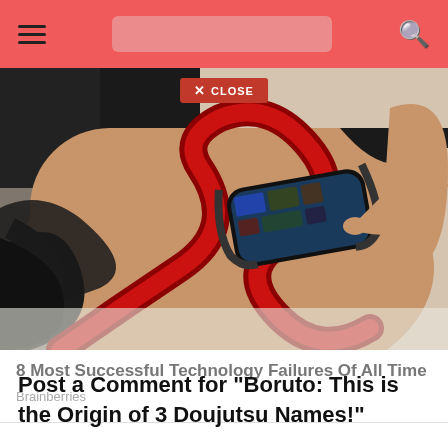Navigation bar with hamburger menu, search box, and search icon
[Figure (photo): A person's arm/leg with a futuristic wearable touchscreen device embedded in a tattoo-like design with black and red swirling patterns. A finger is tapping the screen. Close button overlay at top center.]
8 Most Successful Technology Failures Of All Time
Brainberries
Post a Comment for "Boruto: This is the Origin of 3 Doujutsu Names!"